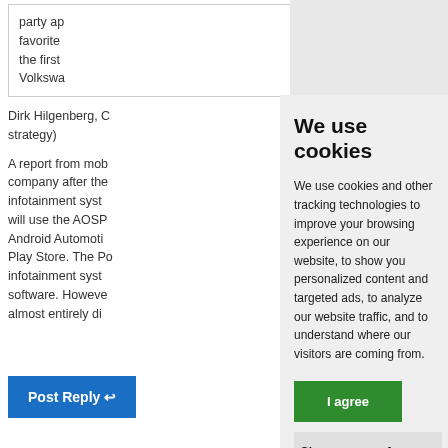party ap favorite the first Volkswa
Dirk Hilgenberg, C strategy)
A report from mob company after the infotainment syst will use the AOSP Android Automoti Play Store. The Po infotainment syst software. Howeve almost entirely di
We use cookies
We use cookies and other tracking technologies to improve your browsing experience on our website, to show you personalized content and targeted ads, to analyze our website traffic, and to understand where our visitors are coming from.
I agree
Change my preferences